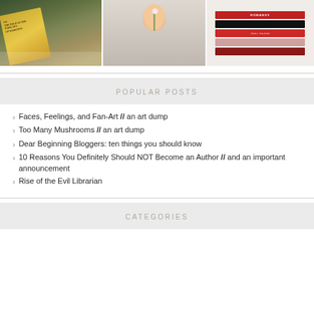[Figure (photo): Three photos in a horizontal strip: a fantasy book 'On The Edge of the Dark Sea of Darkness', a pencil drawing of a person holding a flower, and a stack of books including Jane Austen and Romanov titles.]
POPULAR POSTS
Faces, Feelings, and Fan-Art // an art dump
Too Many Mushrooms // an art dump
Dear Beginning Bloggers: ten things you should know
10 Reasons You Definitely Should NOT Become an Author // and an important announcement
Rise of the Evil Librarian
CATEGORIES